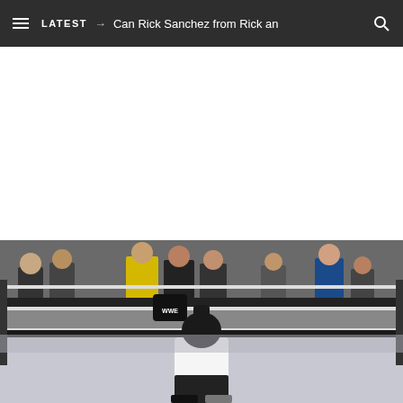LATEST → Can Rick Sanchez from Rick an
[Figure (photo): WWE wrestling ring photo showing a wrestler leaning against the ropes with audience members visible in the background. A WWE-branded elbow pad or glove is visible near the ropes.]